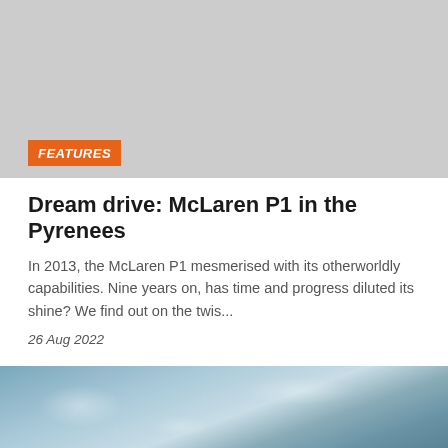[Figure (photo): Large grey placeholder image at top of page with an orange FEATURES badge in the bottom-left corner]
FEATURES
Dream drive: McLaren P1 in the Pyrenees
In 2013, the McLaren P1 mesmerised with its otherworldly capabilities. Nine years on, has time and progress diluted its shine? We find out on the twis...
26 Aug 2022
[Figure (photo): Partial photo at bottom of page showing a blurred blue-grey vehicle or road scene]